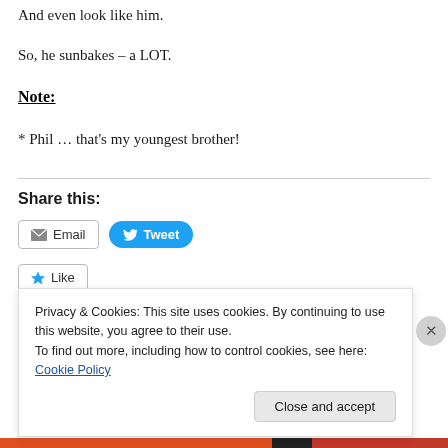And even look like him.
So, he sunbakes – a LOT.
Note:
* Phil … that's my youngest brother!
Share this:
[Figure (screenshot): Email button and Tweet button for sharing]
[Figure (screenshot): Like button (partially visible)]
Privacy & Cookies: This site uses cookies. By continuing to use this website, you agree to their use. To find out more, including how to control cookies, see here: Cookie Policy
Close and accept